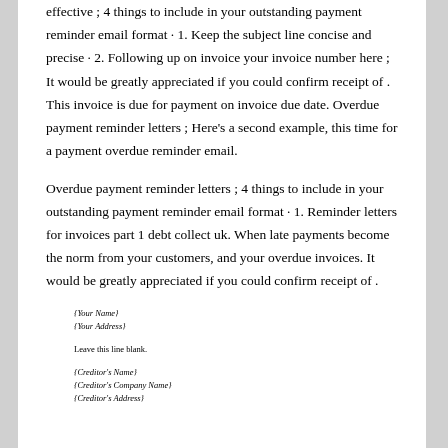effective ; 4 things to include in your outstanding payment reminder email format · 1. Keep the subject line concise and precise · 2. Following up on invoice your invoice number here ; It would be greatly appreciated if you could confirm receipt of . This invoice is due for payment on invoice due date. Overdue payment reminder letters ; Here's a second example, this time for a payment overdue reminder email.
Overdue payment reminder letters ; 4 things to include in your outstanding payment reminder email format · 1. Reminder letters for invoices part 1 debt collect uk. When late payments become the norm from your customers, and your overdue invoices. It would be greatly appreciated if you could confirm receipt of .
{Your Name}
{Your Address}

Leave this line blank.

{Creditor's Name}
{Creditor's Company Name}
{Creditor's Address}